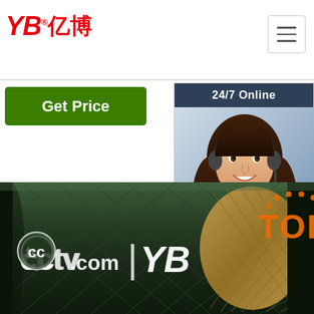[Figure (logo): YB亿博 company logo in red italic text]
[Figure (other): Hamburger menu button (three horizontal lines) in top right corner]
Get Price
•
[Figure (photo): 24/7 Online chat widget with photo of female customer service agent wearing headset, dark blue header, 'Click here for free chat!' text, and orange QUOTATION button]
[Figure (photo): Industrial rubber hydraulic hose banner with CCTV.com | YB logo and TOP badge on dark green hose texture background]